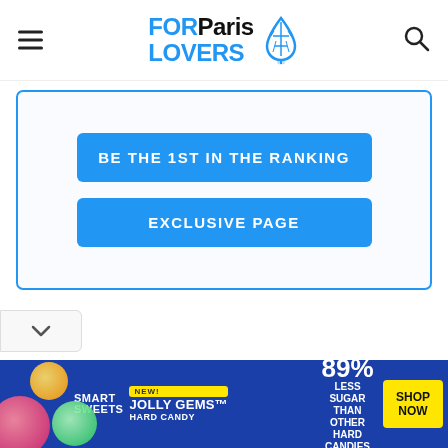FOR Paris LOVERS
BE THE 1ST IN THE RANKING
EXCLUSIVE PAGE
[Figure (screenshot): Advertisement banner for Smart Sweets Jolly Gems hard candy. Left side shows blue background with Smart Sweets logo, NEW! badge, Jolly Gems hard candy text, and colorful candy images. Right side shows '89% LESS SUGAR THAN OTHER HARD CANDIES' with a yellow SHOP NOW button.]